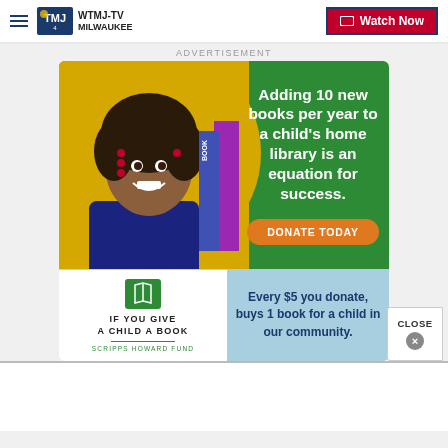WTMJ-TV MILWAUKEE | Watch Now
ADVERTISEMENT
[Figure (infographic): Charity advertisement for 'If You Give A Child A Book' Scripps Howard Fund campaign. Shows a smiling young girl with books, green background, text: 'Adding 10 new books per year to a child's home library is an equation for success.' with a DONATE TODAY button. Bottom section: book icon with 'IF YOU GIVE A CHILD A BOOK / SCRIPPS HOWARD FUND' on left, and 'Every $5 you donate, buys 1 book for a child in our community.' on light blue right panel.]